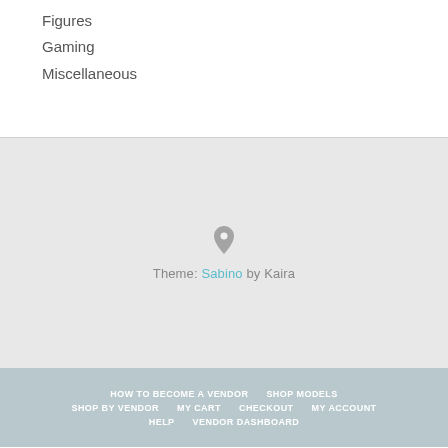Figures
Gaming
Miscellaneous
[Figure (map): Embedded map with a location pin marker in the center of a light gray map area]
Theme: Sabino by Kaira
HOW TO BECOME A VENDOR  SHOP MODELS  SHOP BY VENDOR  MY CART  CHECKOUT  MY ACCOUNT  HELP  VENDOR DASHBOARD